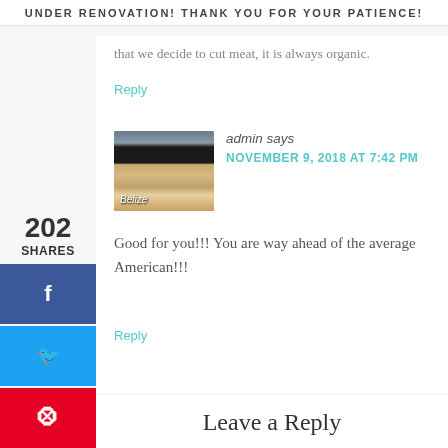UNDER RENOVATION! THANK YOU FOR YOUR PATIENCE!
that we decide to cut meat, it is always organic.
Reply
202 SHARES
[Figure (photo): Profile photo of admin with Belize flag background]
admin says
NOVEMBER 9, 2018 AT 7:42 PM
Good for you!!! You are way ahead of the average American!!!
Reply
Leave a Reply